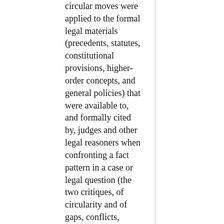circular moves were applied to the formal legal materials (precedents, statutes, constitutional provisions, higher-order concepts, and general policies) that were available to, and formally cited by, judges and other legal reasoners when confronting a fact pattern in a case or legal question (the two critiques, of circularity and of gaps, conflicts, ambiguities, are sometimes referred to as strong and weak “abuse of deduction” critiques);
(2)  A critique of many conceptual or formal propositions (not just of law “on the books,” but also “arm-chair”